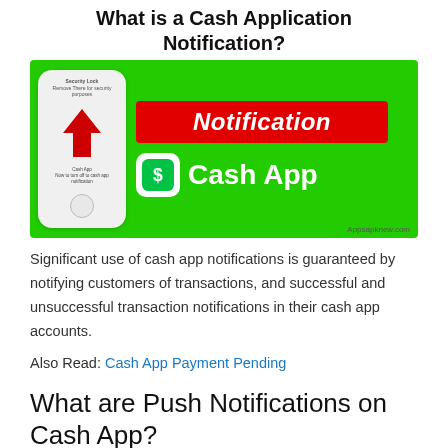What is a Cash Application Notification?
[Figure (illustration): Green banner image showing a phone mockup with a red upward arrow, a red box with 'Notification' in white italic text, and a white Cash App icon with 'Cash App' text in white on green background. Watermark: Appsapknew.com]
Significant use of cash app notifications is guaranteed by notifying customers of transactions, and successful and unsuccessful transaction notifications in their cash app accounts.
Also Read: Cash App Payment Pending
What are Push Notifications on Cash App?